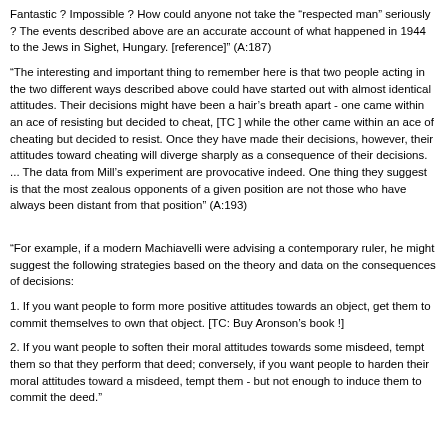Fantastic ? Impossible ? How could anyone not take the 'respected man' seriously ? The events described above are an accurate account of what happened in 1944 to the Jews in Sighet, Hungary. [reference]" (A:187)
"The interesting and important thing to remember here is that two people acting in the two different ways described above could have started out with almost identical attitudes. Their decisions might have been a hair’s breath apart - one came within an ace of resisting but decided to cheat, [TC ] while the other came within an ace of cheating but decided to resist. Once they have made their decisions, however, their attitudes toward cheating will diverge sharply as a consequence of their decisions.
... The data from Mill’s experiment are provocative indeed. One thing they suggest is that the most zealous opponents of a given position are not those who have always been distant from that position" (A:193)
"For example, if a modern Machiavelli were advising a contemporary ruler, he might suggest the following strategies based on the theory and data on the consequences of decisions:
1. If you want people to form more positive attitudes towards an object, get them to commit themselves to own that object. [TC: Buy Aronson’s book !]
2. If you want people to soften their moral attitudes towards some misdeed, tempt them so that they perform that deed; conversely, if you want people to harden their moral attitudes toward a misdeed, tempt them - but not enough to induce them to commit the deed."